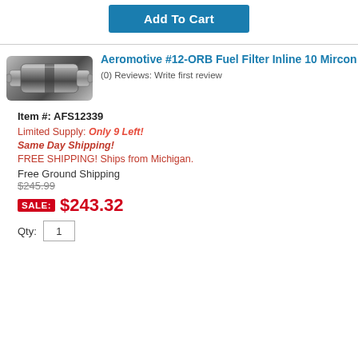Add To Cart
[Figure (photo): Aeromotive inline fuel filter, chrome/silver cylindrical shape]
Aeromotive #12-ORB Fuel Filter Inline 10 Mircon
(0) Reviews: Write first review
Item #: AFS12339
Limited Supply: Only 9 Left!
Same Day Shipping!
FREE SHIPPING! Ships from Michigan.
Free Ground Shipping
$245.99
SALE: $243.32
Qty: 1